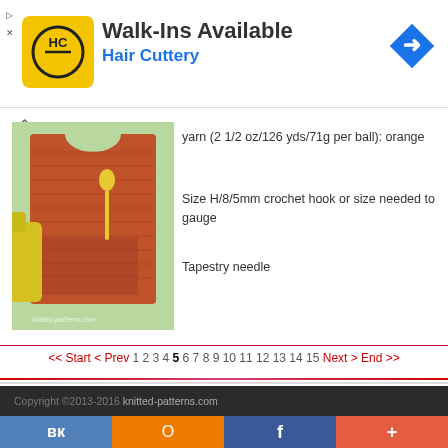[Figure (screenshot): Hair Cuttery advertisement banner with logo (HC in circle on yellow square), text 'Walk-Ins Available' and 'Hair Cuttery', and a blue navigation arrow icon on the right]
[Figure (photo): Orange/rust crocheted baby bib with pocket, displayed with yellow baby spoon and sippy cup on green background, watermarked 'knitted-patterns.com']
yarn (2 1/2 oz/126 yds/71g per ball): orange
Size H/8/5mm crochet hook or size needed to gauge
Tapestry needle
<< Start < Prev 1 2 3 4 5 6 7 8 9 10 11 12 13 14 15 Next > End >>
Copyright ©2013-2016 knitted-patterns.com